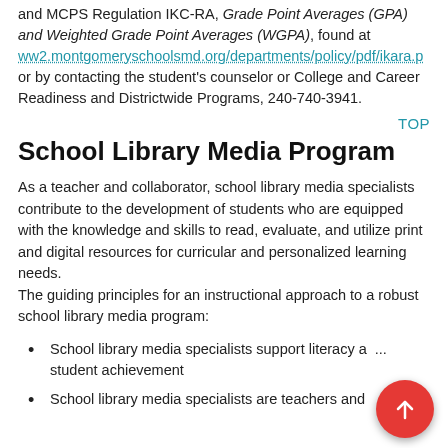and MCPS Regulation IKC-RA, Grade Point Averages (GPA) and Weighted Grade Point Averages (WGPA), found at ww2.montgomeryschoolsmd.org/departments/policy/pdf/ikara.p or by contacting the student's counselor or College and Career Readiness and Districtwide Programs, 240-740-3941.
TOP
School Library Media Program
As a teacher and collaborator, school library media specialists contribute to the development of students who are equipped with the knowledge and skills to read, evaluate, and utilize print and digital resources for curricular and personalized learning needs.
The guiding principles for an instructional approach to a robust school library media program:
School library media specialists support literacy and student achievement
School library media specialists are teachers and